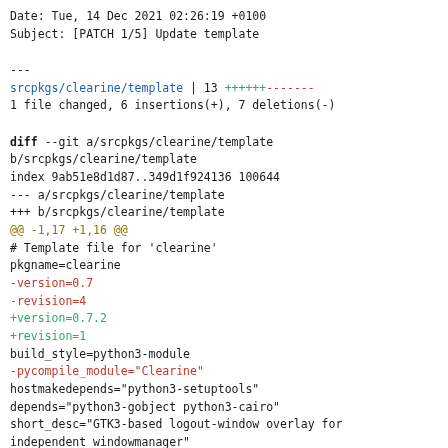Date: Tue, 14 Dec 2021 02:26:19 +0100
Subject: [PATCH 1/5] Update template
---
 srcpkgs/clearine/template | 13 ++++++-------
 1 file changed, 6 insertions(+), 7 deletions(-)
diff --git a/srcpkgs/clearine/template b/srcpkgs/clearine/template
index 9ab51e8d1d87..349d1f924136 100644
--- a/srcpkgs/clearine/template
+++ b/srcpkgs/clearine/template
@@ -1,17 +1,16 @@
 # Template file for 'clearine'
 pkgname=clearine
-version=0.7
-revision=4
+version=0.7.2
+revision=1
 build_style=python3-module
-pycompile_module="Clearine"
 hostmakedepends="python3-setuptools"
 depends="python3-gobject python3-cairo"
 short_desc="GTK3-based logout-window overlay for independent windowmanager"
-maintainer="Frank Steinborn <steinex@nognu.de>"
+maintainer="oSoWoSo <pm@osowoso.xyz>"
 license="MIT"
-homepage="https://github.com/yuune/clearine"
-